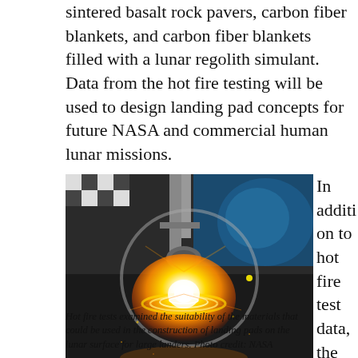sintered basalt rock pavers, carbon fiber blankets, and carbon fiber blankets filled with a lunar regolith simulant. Data from the hot fire testing will be used to design landing pad concepts for future NASA and commercial human lunar missions.
[Figure (photo): A hot fire test showing a rocket engine firing downward onto a metallic surface inside a test facility, with bright orange and yellow flames and concentric ring patterns visible from the exhaust plume.]
Hot fire tests examined the suitability of the materials that could be used in the construction of landing pads on the lunar surface for large landers. Photo credit: NASA
In addition to hot fire test data, the team